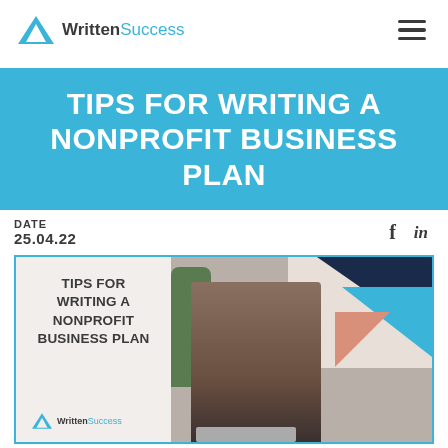WrittenSuccess
TIPS FOR WRITING A NONPROFIT BUSINESS PLAN
DATE
25.04.22
[Figure (photo): A woman in a black blazer smiling and working on a laptop in a modern office with geometric art on the wall and a plant, alongside a card reading TIPS FOR WRITING A NONPROFIT BUSINESS PLAN with the WrittenSuccess logo]